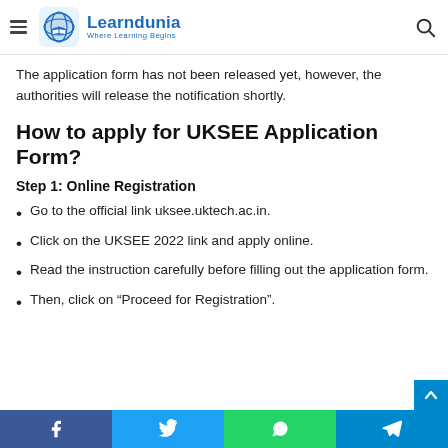Learndunia — Where Learning Begins
The application form has not been released yet, however, the authorities will release the notification shortly.
How to apply for UKSEE Application Form?
Step 1: Online Registration
Go to the official link uksee.uktech.ac.in.
Click on the UKSEE 2022 link and apply online.
Read the instruction carefully before filling out the application form.
Then, click on “Proceed for Registration”.
Facebook | Twitter | WhatsApp | Telegram